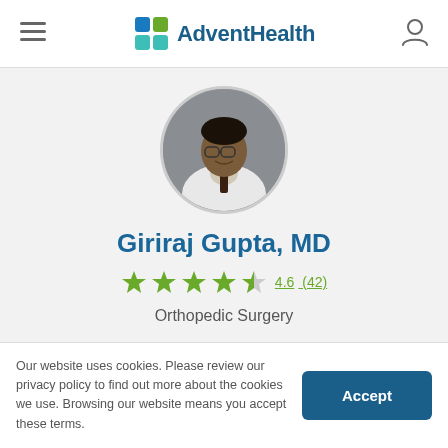AdventHealth
[Figure (photo): Circular profile photo of Dr. Giriraj Gupta wearing a white coat and tie, with a grey background]
Giriraj Gupta, MD
4.6 (42) — star rating
Orthopedic Surgery
Our website uses cookies. Please review our privacy policy to find out more about the cookies we use. Browsing our website means you accept these terms.